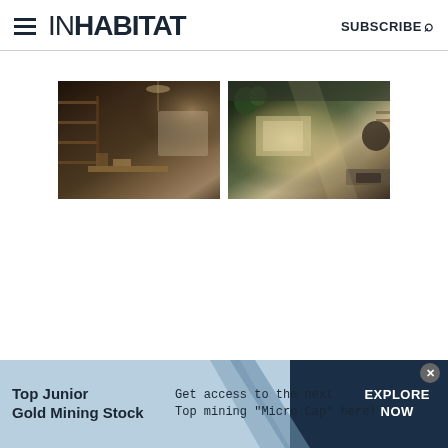INHABIT  SUBSCRIBE
[Figure (photo): Two interior photos of a modern concrete/rustic dwelling. Left image shows a dim interior room with wooden shelving and concrete walls. Right image shows a brighter kitchen/living space with plants, concrete ceiling, and large windows letting in light.]
[Figure (infographic): Advertisement banner: 'Top Junior Gold Mining Stock — Get access to the next Top mining "Micro Cap" here! EXPLORE NOW']